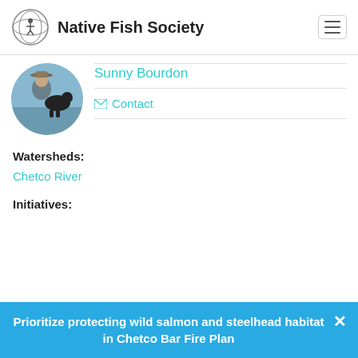Native Fish Society
[Figure (photo): Circular profile photo of Sunny Bourdon wearing a hat, holding a black dog outdoors near water]
Sunny Bourdon
✉ Contact
Watersheds:
Chetco River
Initiatives:
Prioritize protecting wild salmon and steelhead habitat in Chetco Bar Fire Plan